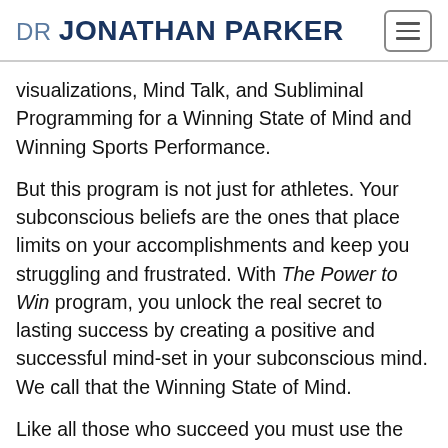DR JONATHAN PARKER
visualizations, Mind Talk, and Subliminal Programming for a Winning State of Mind and Winning Sports Performance.
But this program is not just for athletes. Your subconscious beliefs are the ones that place limits on your accomplishments and keep you struggling and frustrated. With The Power to Win program, you unlock the real secret to lasting success by creating a positive and successful mind-set in your subconscious mind. We call that the Winning State of Mind.
Like all those who succeed you must use the incredible power of your subconscious mind to increase your focus on success and winning